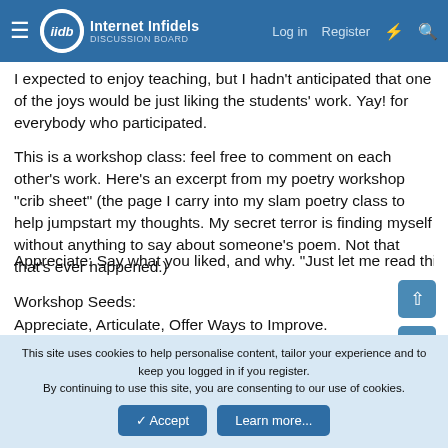Internet Infidels — Log in | Register
I expected to enjoy teaching, but I hadn't anticipated that one of the joys would be just liking the students' work. Yay! for everybody who participated.
This is a workshop class: feel free to comment on each other's work. Here's an excerpt from my poetry workshop "crib sheet" (the page I carry into my slam poetry class to help jumpstart my thoughts. My secret terror is finding myself without anything to say about someone's poem. Not that that's ever happened.)
Workshop Seeds:
Appreciate, Articulate, Offer Ways to Improve.
Thoughts that may help some workshoppers get started:
Be supportive and encouraging.
Appreciate: Say what you liked, and why. "Just let me read this
This site uses cookies to help personalise content, tailor your experience and to keep you logged in if you register.
By continuing to use this site, you are consenting to our use of cookies.